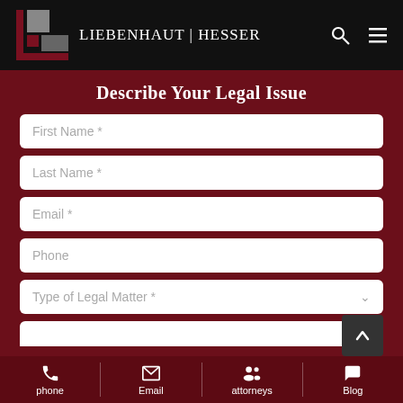[Figure (logo): Liebenhaut Hesser law firm logo — geometric squares in dark red and gray on black background, with firm name 'LIEBENHAUT | HESSER' in white serif text]
Describe Your Legal Issue
First Name *
Last Name *
Email *
Phone
Type of Legal Matter *
phone | Email | attorneys | Blog